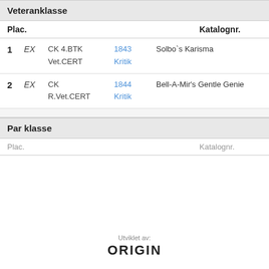Veteranklasse
| Plac. |  |  | Katalognr. |  |
| --- | --- | --- | --- | --- |
| 1 | EX | CK 4.BTK
Vet.CERT | 1843
Kritik | Solbo`s Karisma |
| 2 | EX | CK
R.Vet.CERT | 1844
Kritik | Bell-A-Mir's Gentle Genie |
Par klasse
| Plac. | Katalognr. |
| --- | --- |
Utviklet av: